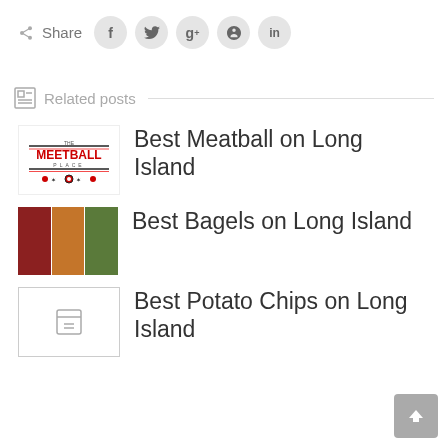Share
Related posts
Best Meatball on Long Island
Best Bagels on Long Island
Best Potato Chips on Long Island